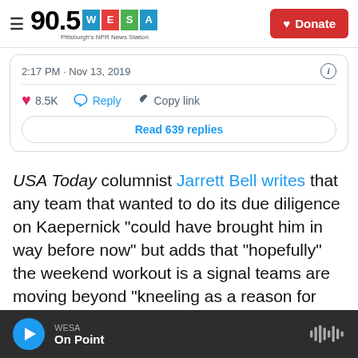90.5 WESA Pittsburgh's NPR News Station | Donate
[Figure (screenshot): Embedded tweet showing 2:17 PM · Nov 13, 2019 with 8.5K likes, Reply, Copy link buttons and Read 639 replies button]
USA Today columnist Jarrett Bell writes that any team that wanted to do its due diligence on Kaepernick "could have brought him in way before now" but adds that "hopefully" the weekend workout is a signal teams are moving beyond "kneeling as a reason for shutting Kaepernick out of the league."
WESA On Point